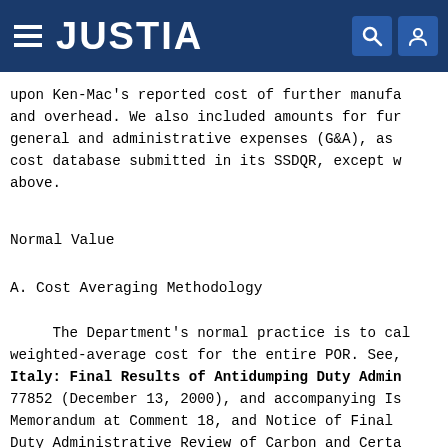JUSTIA
upon Ken-Mac's reported cost of further manufacture and overhead. We also included amounts for further general and administrative expenses (G&A), as cost database submitted in its SSDQR, except where above.
Normal Value
A. Cost Averaging Methodology
The Department's normal practice is to calculate a weighted-average cost for the entire POR. See, Italy: Final Results of Antidumping Duty Administrative Review, 77852 (December 13, 2000), and accompanying Issues and Decision Memorandum at Comment 18, and Notice of Final Antidumping Duty Administrative Review of Carbon and Certain Alloy Steel Wire Rod from Canada, 71 FR 3822 (January 24, 2006), and